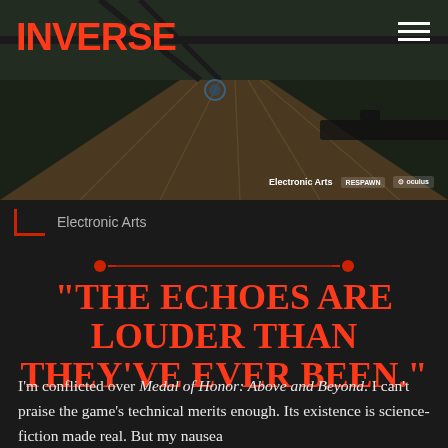[Figure (screenshot): Hero image showing a first-person VR game perspective with wooden floor and overhead view, with INVERSE logo in red top left, hamburger menu top right, and Electronic Arts / Respawn / Oculus logos bottom right]
Electronic Arts
"THE ECHOES ARE LOUDER THAN THEY'VE EVER BEEN."
I'm conflicted over Medal of Honor: Above and Beyond. I can't praise the game's technical merits enough. Its existence is science-fiction made real. But my nausea